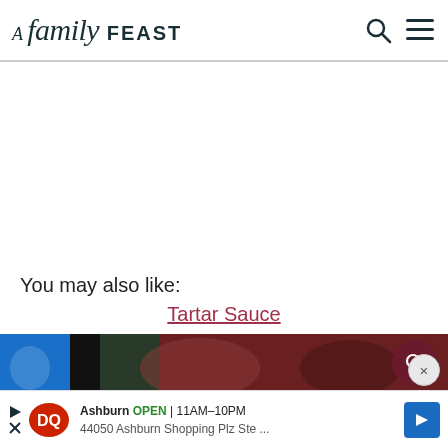A Family FEAST
You may also like:
Tartar Sauce
[Figure (photo): Partial food image strip visible below the Tartar Sauce link]
Ashburn OPEN 11AM-10PM 44050 Ashburn Shopping Plz Ste ...